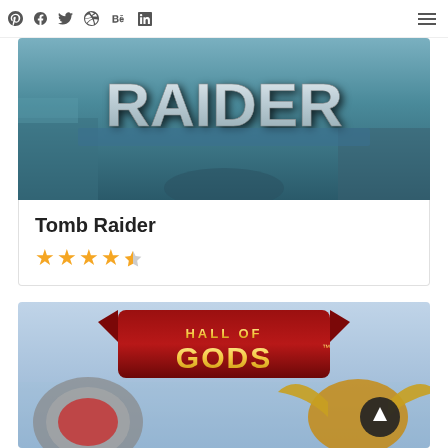Social icons: Pinterest, Facebook, Twitter, Dribbble, Behance, LinkedIn; Hamburger menu
[Figure (screenshot): Tomb Raider slot game banner image showing metallic 3D 'RAIDER' text logo in blue/silver tones]
Tomb Raider
★★★★½ (4.5 star rating)
[Figure (screenshot): Hall of Gods slot game banner image showing red ornate banner with gold 'HALL OF GODS' text, Viking/mythology themed imagery]